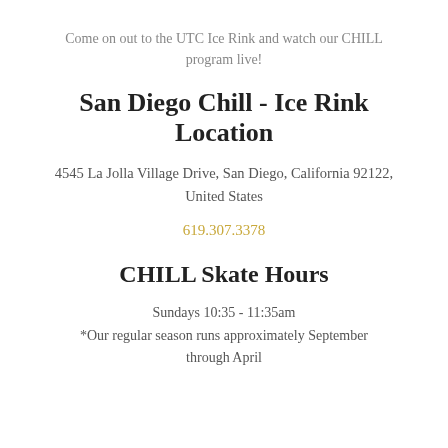Come on out to the UTC Ice Rink and watch our CHILL program live!
San Diego Chill - Ice Rink Location
4545 La Jolla Village Drive, San Diego, California 92122, United States
619.307.3378
CHILL Skate Hours
Sundays 10:35 - 11:35am
*Our regular season runs approximately September through April